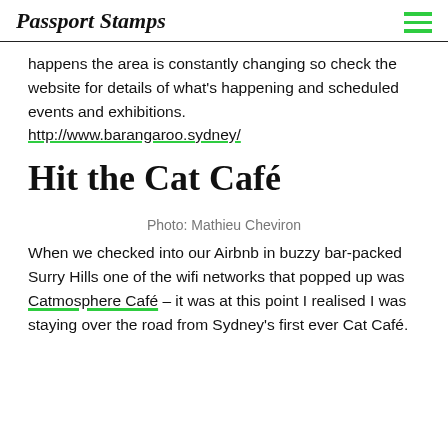Passport Stamps
happens the area is constantly changing so check the website for details of what's happening and scheduled events and exhibitions.
http://www.barangaroo.sydney/
Hit the Cat Café
Photo: Mathieu Cheviron
When we checked into our Airbnb in buzzy bar-packed Surry Hills one of the wifi networks that popped up was Catmosphere Café – it was at this point I realised I was staying over the road from Sydney's first ever Cat Café.